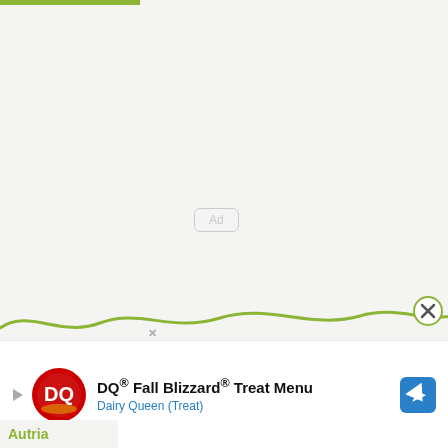[Figure (other): Green horizontal bar at top left of page, acting as a decorative header accent]
Ad
[Figure (other): Green wavy decorative line across the page bottom area, with a close (X) circle button at the right end]
[Figure (other): Advertisement banner for DQ Fall Blizzard Treat Menu by Dairy Queen (Treat), showing DQ logo, ad title, subtitle, and navigation arrow icon]